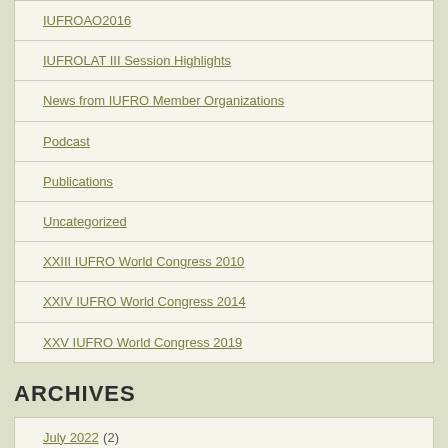IUFROAO2016
IUFROLAT III Session Highlights
News from IUFRO Member Organizations
Podcast
Publications
Uncategorized
XXIII IUFRO World Congress 2010
XXIV IUFRO World Congress 2014
XXV IUFRO World Congress 2019
ARCHIVES
July 2022 (2)
March 2022 (3)